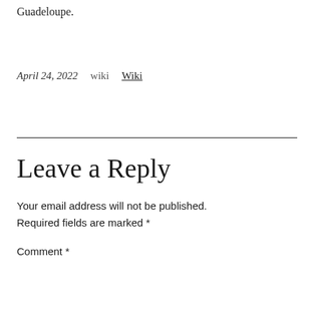Guadeloupe.
April 24, 2022    wiki    Wiki
Leave a Reply
Your email address will not be published. Required fields are marked *
Comment *